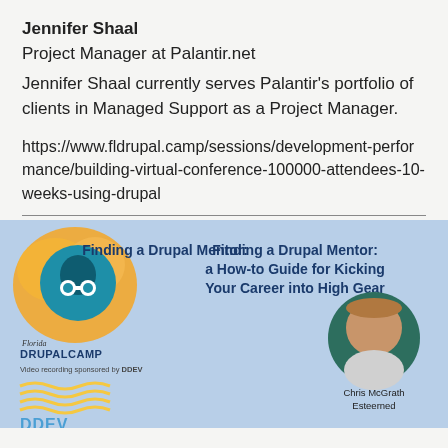Jennifer Shaal
Project Manager at Palantir.net
Jennifer Shaal currently serves Palantir's portfolio of clients in Managed Support as a Project Manager.
https://www.fldrupal.camp/sessions/development-performance/building-virtual-conference-100000-attendees-10-weeks-using-drupal
[Figure (screenshot): Florida DrupalCamp session thumbnail featuring Drupal drop logo on orange splash background, session title 'Finding a Drupal Mentor: a How-to Guide for Kicking Your Career into High Gear', DDEV sponsor logo, and speaker photo of Chris McGrath (Esteerned) on light blue background.]